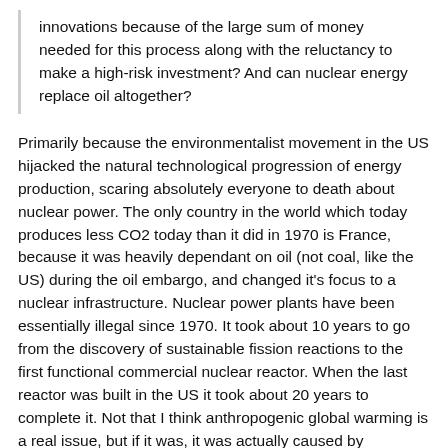innovations because of the large sum of money needed for this process along with the reluctancy to make a high-risk investment? And can nuclear energy replace oil altogether?
Primarily because the environmentalist movement in the US hijacked the natural technological progression of energy production, scaring absolutely everyone to death about nuclear power. The only country in the world which today produces less CO2 today than it did in 1970 is France, because it was heavily dependant on oil (not coal, like the US) during the oil embargo, and changed it's focus to a nuclear infrastructure. Nuclear power plants have been essentially illegal since 1970. It took about 10 years to go from the discovery of sustainable fission reactions to the first functional commercial nuclear reactor. When the last reactor was built in the US it took about 20 years to complete it. Not that I think anthropogenic global warming is a real issue, but if it was, it was actually caused by environmentalist scare mongering in the first place.
Nuclear waste is a non issue as well, as it can be continually re processed inside of nuclear power plants (bombarding radioactive elements with high energy neutrons to transmute it...